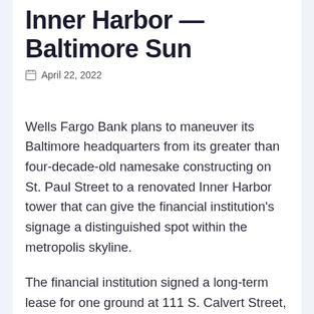Inner Harbor — Baltimore Sun
April 22, 2022
Wells Fargo Bank plans to maneuver its Baltimore headquarters from its greater than four-decade-old namesake constructing on St. Paul Street to a renovated Inner Harbor tower that can give the financial institution's signage a distinguished spot within the metropolis skyline.
The financial institution signed a long-term lease for one ground at 111 S. Calvert Street, a 28-story mixed-use tower that additionally consists of the 680-room Renaissance Hotel and the previous Gallery at Harborplace mall